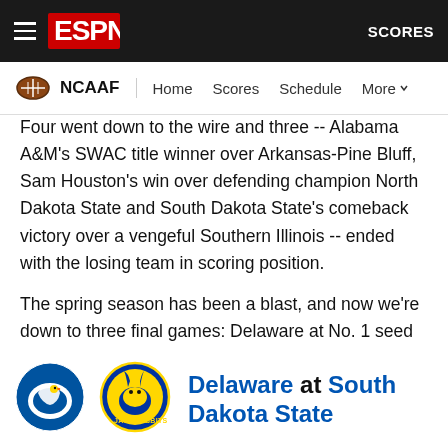ESPN — NCAAF | Home | Scores | Schedule | More | SCORES
Four went down to the wire and three -- Alabama A&M's SWAC title winner over Arkansas-Pine Bluff, Sam Houston's win over defending champion North Dakota State and South Dakota State's comeback victory over a vengeful Southern Illinois -- ended with the losing team in scoring position.
The spring season has been a blast, and now we're down to three final games: Delaware at No. 1 seed South Dakota State (noon ET on ESPN) and No. 3 James Madison at No. 2 Sam Houston (2:30 p.m. on ABC) on Saturday and the finals in Frisco, Texas, a week later. Let's finish strong.
Delaware at South Dakota State